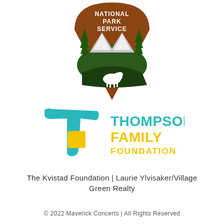[Figure (logo): National Park Service arrowhead logo with bison, trees, and mountains. Brown and green arrowhead shape with white text 'NATIONAL PARK SERVICE'.]
[Figure (logo): Thompson Family Foundation logo with a teal brush-stroke T and yellow square accent, and the text THOMPSON FAMILY FOUNDATION in teal and yellow.]
The Kvistad Foundation | Laurie Ylvisaker/Village Green Realty
© 2022 Maverick Concerts | All Rights Reserved